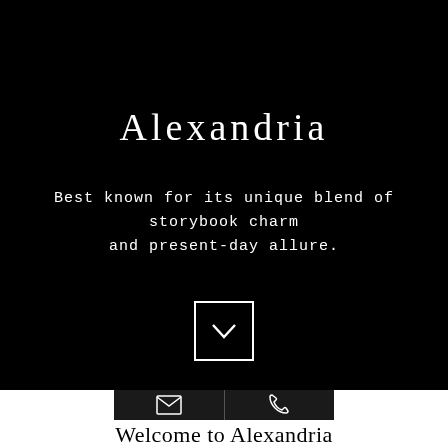Alexandria
Best known for its unique blend of storybook charm and present-day allure.
[Figure (illustration): A square box with a downward chevron/arrow icon inside, white outline on black background.]
[Figure (infographic): A dark contact bar with two buttons: an envelope icon and a phone icon, side by side with a divider.]
Welcome to Alexandria